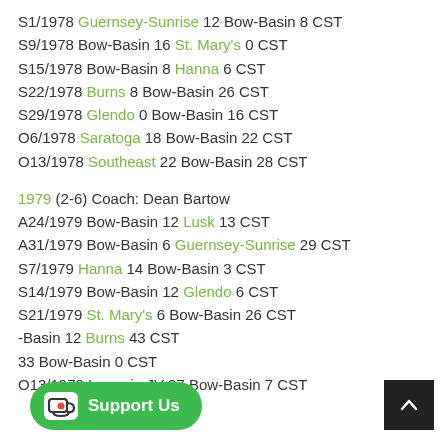S1/1978 Guernsey-Sunrise 12 Bow-Basin 8 CST
S9/1978 Bow-Basin 16 St. Mary's 0 CST
S15/1978 Bow-Basin 8 Hanna 6 CST
S22/1978 Burns 8 Bow-Basin 26 CST
S29/1978 Glendo 0 Bow-Basin 16 CST
O6/1978 Saratoga 18 Bow-Basin 22 CST
O13/1978 Southeast 22 Bow-Basin 28 CST
1979 (2-6) Coach: Dean Bartow
A24/1979 Bow-Basin 12 Lusk 13 CST
A31/1979 Bow-Basin 6 Guernsey-Sunrise 29 CST
S7/1979 Hanna 14 Bow-Basin 3 CST
S14/1979 Bow-Basin 12 Glendo 6 CST
S21/1979 St. Mary's 6 Bow-Basin 26 CST
...Basin 12 Burns 43 CST
...33 Bow-Basin 0 CST
O13/1979 Laramie JV 37 Bow-Basin 7 CST